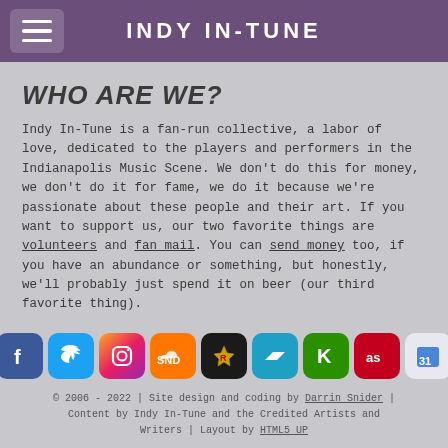INDY IN-TUNE
WHO ARE WE?
Indy In-Tune is a fan-run collective, a labor of love, dedicated to the players and performers in the Indianapolis Music Scene. We don't do this for money, we don't do it for fame, we do it because we're passionate about these people and their art. If you want to support us, our two favorite things are volunteers and fan mail. You can send money too, if you have an abundance or something, but honestly, we'll probably just spend it on beer (our third favorite thing).
[Figure (infographic): Row of social media icons: Facebook, Twitter, Instagram, SoundCloud, ReverbNation, Bandcamp, Kickstarter, Last.fm, Google Calendar (31)]
© 2006 - 2022 | Site design and coding by Darrin Snider | Content by Indy In-Tune and the Credited Artists and Writers | Layout by HTML5 UP